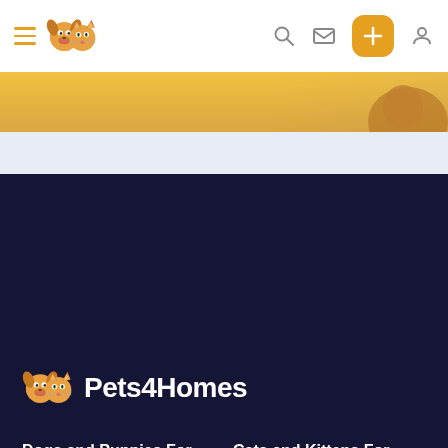Navigation bar with hamburger menu, Pets4Homes logo, search, message, add, and profile icons
[Figure (photo): Hero image strip showing an orange/golden background with a cat partially visible on the right]
Pets4Homes
Dogs and Puppies For Sale
Cocker Spaniel for sale
Cockapoo for sale
Labrador Retriever for sale
German Shepherd for sale
Cats and Kittens For Sale
Maine Coon for sale
British Shorthair for sale
Ragdoll for sale
Bengal for sale
Sphynx for sale